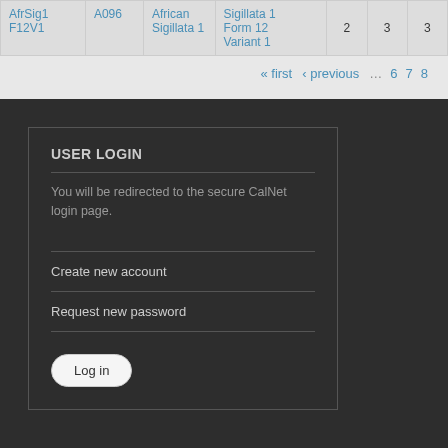| AfrSig1 F12V1 | A096 | African Sigillata 1 | Sigillata 1 Form 12 Variant 1 | 2 | 3 | 3 |
| --- | --- | --- | --- | --- | --- | --- |
| AfrSig1 F12V1 | A096 | African Sigillata 1 | Sigillata 1 Form 12 Variant 1 | 2 | 3 | 3 |
« first ‹ previous ... 6 7 8
USER LOGIN
You will be redirected to the secure CalNet login page.
Create new account
Request new password
Log in